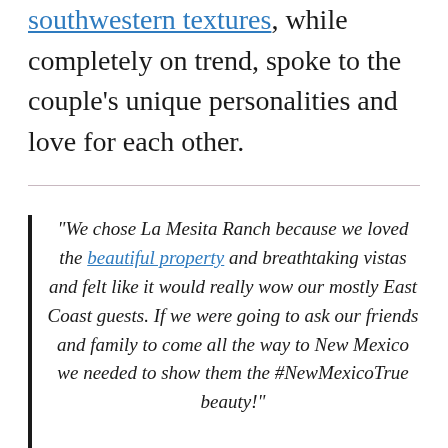southwestern textures, while completely on trend, spoke to the couple's unique personalities and love for each other.
“We chose La Mesita Ranch because we loved the beautiful property and breathtaking vistas and felt like it would really wow our mostly East Coast guests. If we were going to ask our friends and family to come all the way to New Mexico we needed to show them the #NewMexicoTrue beauty!”